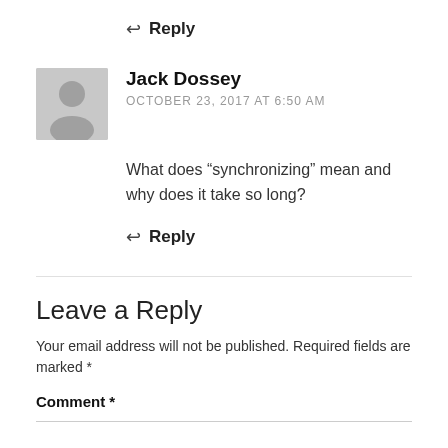↩ Reply
Jack Dossey
OCTOBER 23, 2017 AT 6:50 AM
What does “synchronizing” mean and why does it take so long?
↩ Reply
Leave a Reply
Your email address will not be published. Required fields are marked *
Comment *